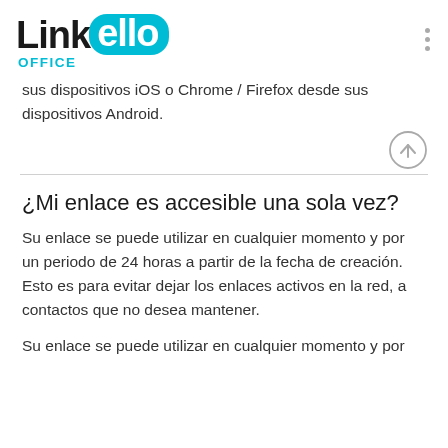[Figure (logo): Linkello Office logo - 'Link' in black bold, 'ello' in white on cyan speech bubble shape, 'OFFICE' in cyan below]
sus dispositivos iOS o Chrome / Firefox desde sus dispositivos Android.
¿Mi enlace es accesible una sola vez?
Su enlace se puede utilizar en cualquier momento y por un periodo de 24 horas a partir de la fecha de creación. Esto es para evitar dejar los enlaces activos en la red, a contactos que no desea mantener.
Su enlace se puede utilizar en cualquier momento y por